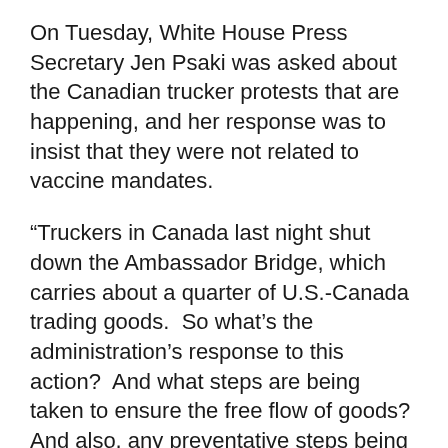On Tuesday, White House Press Secretary Jen Psaki was asked about the Canadian trucker protests that are happening, and her response was to insist that they were not related to vaccine mandates.
“Truckers in Canada last night shut down the Ambassador Bridge, which carries about a quarter of U.S.-Canada trading goods.  So what’s the administration’s response to this action?  And what steps are being taken to ensure the free flow of goods?  And also, any preventative steps being taken to address a possible blockade on the Michigan side of that bridge?” the reporter said.